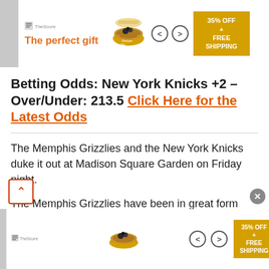[Figure (screenshot): Top advertisement banner: 'The perfect gift' with bowl image, arrows, and '35% OFF + FREE SHIPPING' promo badge]
Betting Odds: New York Knicks +2 – Over/Under: 213.5 Click Here for the Latest Odds
The Memphis Grizzlies and the New York Knicks duke it out at Madison Square Garden on Friday night.
The Memphis Grizzlies have been in great form lately as they've won eight of their past 11 games and they will be looking to build on their current four-game win streak after routing the Hawks in a 131-113 road win on Wednesday. Grayson Allen led the way with 30 points on 10 of 18 shooting, Jonas Valanciunas added 19 points with 11 rebounds and four assists, Ja Morant scored 19 points
[Figure (screenshot): Bottom advertisement banner repeating top ad: 'The perfect gift' with bowl image and '35% OFF' promo]